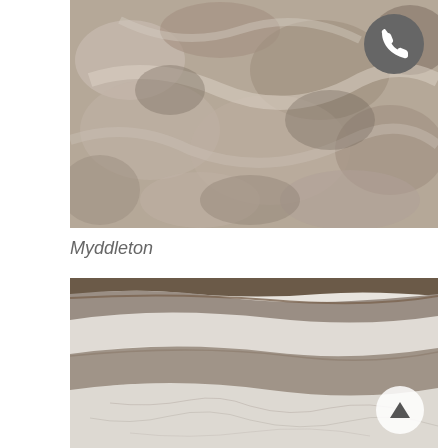[Figure (photo): Close-up of grey-brown mottled marble or stone surface texture with lighter patches and veining]
Myddleton
[Figure (photo): Close-up of white and grey striated marble with diagonal bands of grey stone and white stone with fine crack veining, and a brown edge at top]